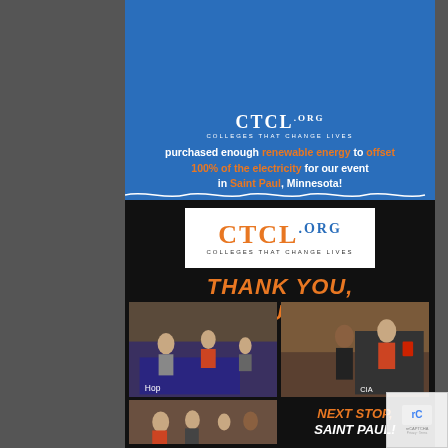[Figure (infographic): Blue CTCL (Colleges That Change Lives) promotional graphic stating 'purchased enough renewable energy to offset 100% of the electricity for our event in Saint Paul, Minnesota!' with orange and white highlighted text on blue background.]
[Figure (infographic): CTCL (Colleges That Change Lives) logo on white background in orange and blue.]
THANK YOU, ALBUQUERQUE!
[Figure (photo): Photo of students and representatives at a college fair booth with a blue tablecloth showing Hope college logo.]
[Figure (photo): Photo of students interacting at a college booth at the Albuquerque college fair event.]
[Figure (photo): Photo of students at the Albuquerque college fair.]
NEXT STOP, SAINT PAUL!